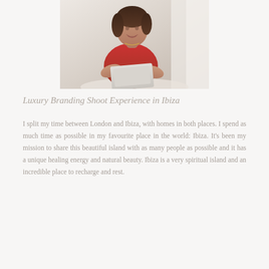[Figure (photo): A woman in a red sleeveless top sitting and holding a laptop, smiling and looking upward, in a bright white interior setting.]
Luxury Branding Shoot Experience in Ibiza
I split my time between London and Ibiza, with homes in both places. I spend as much time as possible in my favourite place in the world: Ibiza. It's been my mission to share this beautiful island with as many people as possible and it has a unique healing energy and natural beauty. Ibiza is a very spiritual island and an incredible place to recharge and rest.